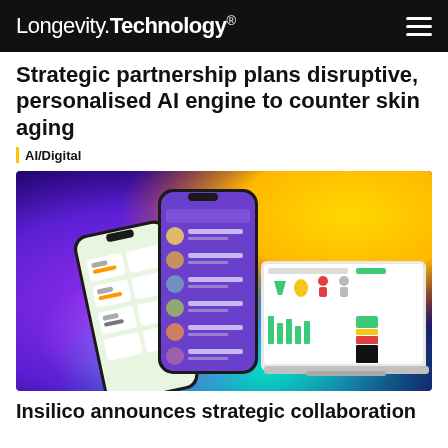Longevity.Technology®
Strategic partnership plans disruptive, personalised AI engine to counter skin aging
| AI/Digital
[Figure (illustration): Promotional image showing three smartphone screens and a laptop/dashboard interface against a colorful purple, blue, yellow, and green gradient background. The phones display app interfaces including a profile screen with user list and a health/skin analysis dashboard. The laptop shows health metrics and chart visualizations with green bar charts and colored body icons.]
Insilico announces strategic collaboration